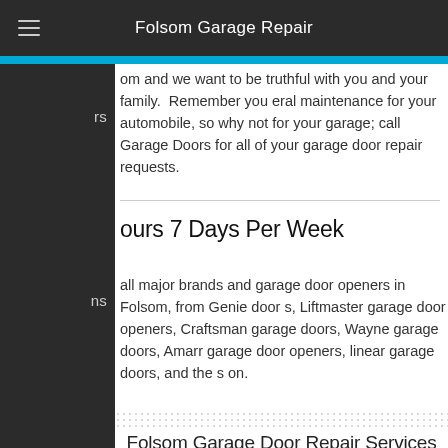Folsom Garage Repair
om and we want to be truthful with you and your family.  Remember you eral maintenance for your automobile, so why not for your garage; call Garage Doors for all of your garage door repair requests.
ours 7 Days Per Week
all major brands and garage door openers in Folsom, from Genie door s, Liftmaster garage door openers, Craftsman garage doors, Wayne garage doors, Amarr garage door openers, linear garage doors, and the s on.
Folsom Garage Door Repair Services